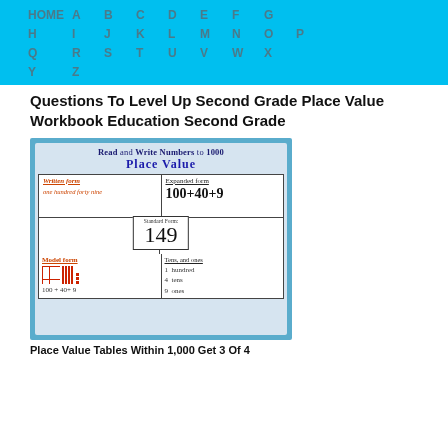HOME A B C D E F G H I J K L M N O P Q R S T U V W X Y Z
Questions To Level Up Second Grade Place Value Workbook Education Second Grade
[Figure (photo): A whiteboard anchor chart showing 'Read and Write Numbers to 1000 - Place Value' with four quadrants: Written form (one hundred forty nine), Expanded form (100 + 40 + 9), Standard Form (149 in a box), and Model form with base-ten blocks and Hundreds, Tens, and ones breakdown: 1 hundred, 4 tens, 9 ones.]
Place Value Tables Within 1,000 Get 3 Of 4